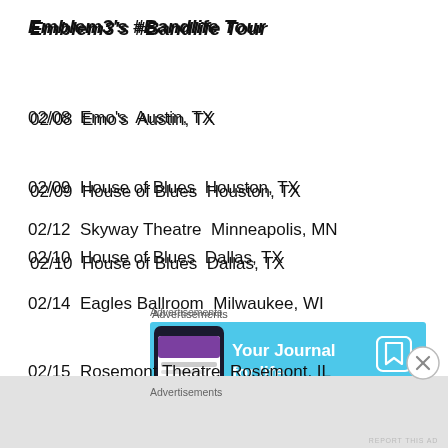Emblem3's #Bandlife Tour
02/08  Emo's  Austin, TX
02/09  House of Blues  Houston, TX
02/10  House of Blues  Dallas, TX
[Figure (other): DayOne app advertisement banner: 'Your Journal for life' with DAY ONE logo and bookmark icon on a light blue background, with a phone image on the left.]
02/12  Skyway Theatre  Minneapolis, MN
02/14  Eagles Ballroom  Milwaukee, WI
02/15  Rosemont Theatre  Rosemont, IL